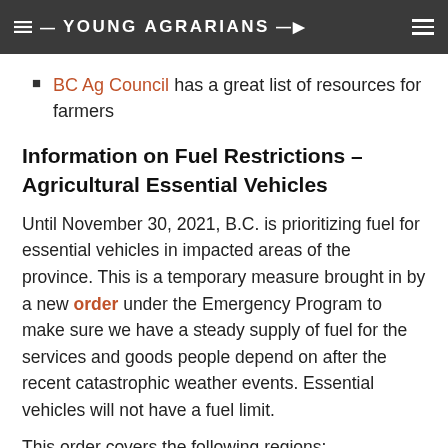YOUNG AGRARIANS
BC Ag Council has a great list of resources for farmers
Information on Fuel Restrictions – Agricultural Essential Vehicles
Until November 30, 2021, B.C. is prioritizing fuel for essential vehicles in impacted areas of the province. This is a temporary measure brought in by a new order under the Emergency Program to make sure we have a steady supply of fuel for the services and goods people depend on after the recent catastrophic weather events. Essential vehicles will not have a fuel limit.
This order covers the following regions: